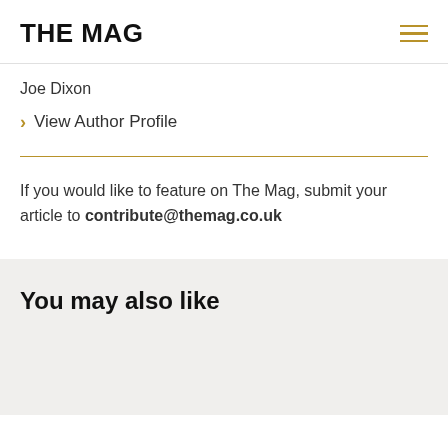THE MAG
Joe Dixon
View Author Profile
If you would like to feature on The Mag, submit your article to contribute@themag.co.uk
You may also like